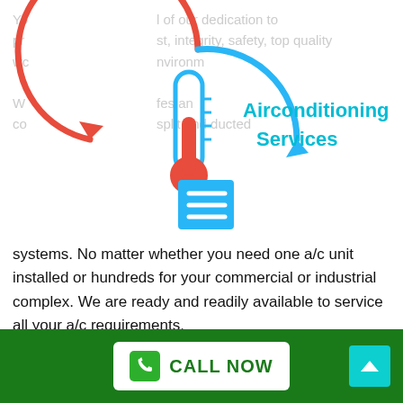[Figure (illustration): Air conditioning/HVAC circular icon with thermometer in center, red upward arrow on left and blue downward arrow on right, forming a circle. To the right is a cyan/teal title 'Airconditioning Services' and a menu/list icon below it.]
systems. No matter whether you need one a/c unit installed or hundreds for your commercial or industrial complex. We are ready and readily available to service all your a/c requirements.
WE SERVICE ALL SYSTEMS
Many HEATING AND COOLING companies in Ormeau Hills only service or install one brand because it is much easier on their team to only learn about one system. This implies that you can choose in between
CALL NOW